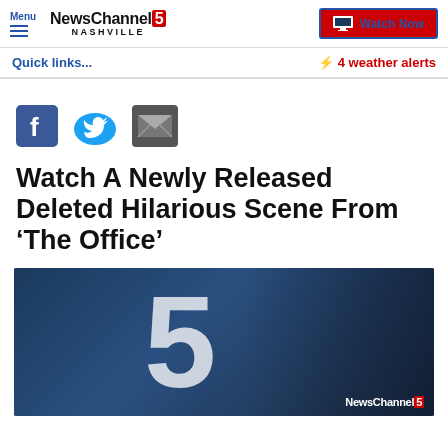NewsChannel 5 Nashville | Watch Now
Quick links...
4 weather alerts
[Figure (other): Social share icons: Facebook, Twitter, Email]
Watch A Newly Released Deleted Hilarious Scene From ‘The Office’
[Figure (screenshot): NewsChannel 5 video thumbnail with dark blue background and large '5' logo watermark, NewsChannel 5 branding at bottom right]